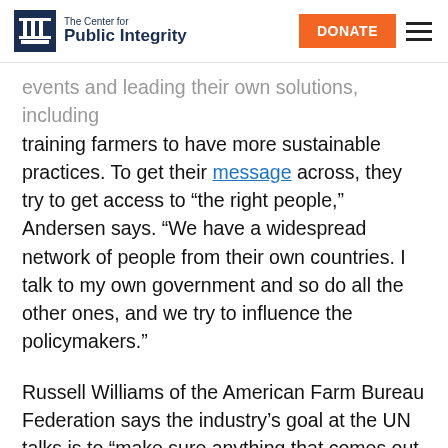The Center for Public Integrity | DONATE
…events and leading their own solutions, including training farmers to have more sustainable practices. To get their message across, they try to get access to “the right people,” Andersen says. “We have a widespread network of people from their own countries. I talk to my own government and so do all the other ones, and we try to influence the policymakers.”
Russell Williams of the American Farm Bureau Federation says the industry’s goal at the UN talks is to “make sure anything that comes out of here doesn’t negatively affect the ability of farmers’ ability to feed the world.” Williams has been